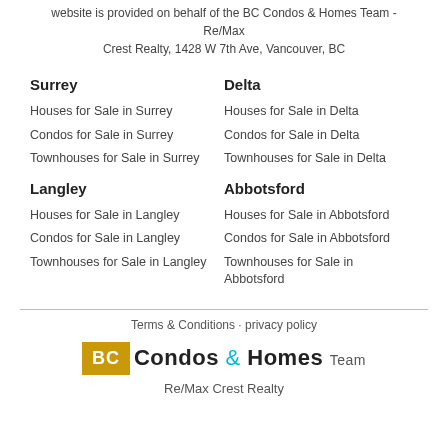website is provided on behalf of the BC Condos & Homes Team - Re/Max Crest Realty, 1428 W 7th Ave, Vancouver, BC
Surrey
Houses for Sale in Surrey
Condos for Sale in Surrey
Townhouses for Sale in Surrey
Langley
Houses for Sale in Langley
Condos for Sale in Langley
Townhouses for Sale in Langley
Delta
Houses for Sale in Delta
Condos for Sale in Delta
Townhouses for Sale in Delta
Abbotsford
Houses for Sale in Abbotsford
Condos for Sale in Abbotsford
Townhouses for Sale in Abbotsford
Terms & Conditions · privacy policy
[Figure (logo): BC Condos & Homes Team logo with gold BC box and teal ampersand]
Re/Max Crest Realty